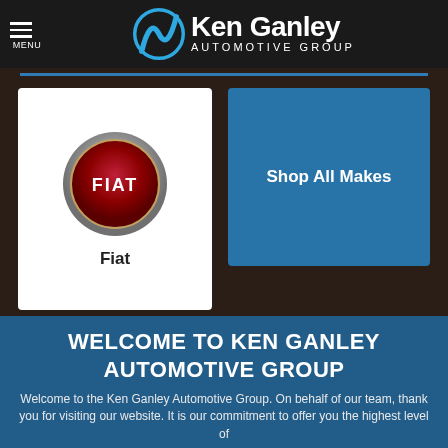MENU | Ken Ganley Automotive Group
[Figure (logo): Fiat brand logo card — circular metallic emblem with red background and FIAT lettering, white card with 'Fiat' label below]
Shop All Makes
WELCOME TO KEN GANLEY AUTOMOTIVE GROUP
Welcome to the Ken Ganley Automotive Group. On behalf of our team, thank you for visiting our website. It is our commitment to offer you the highest level of